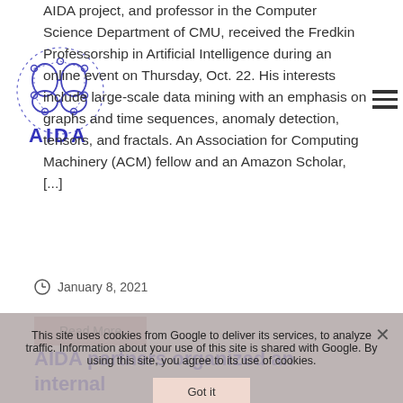AIDA project, and professor in the Computer Science Department of CMU, received the Fredkin Professorship in Artificial Intelligence during an online event on Thursday, Oct. 22. His interests include large-scale data mining with an emphasis on graphs and time sequences, anomaly detection, tensors, and fractals. An Association for Computing Machinery (ACM) fellow and an Amazon Scholar, [...]
[Figure (logo): AIDA project logo — brain network graphic with nodes and edges in blue/purple, with 'AIDA' text below in blue letters]
January 8, 2021
Read More
This site uses cookies from Google to deliver its services, to analyze traffic. Information about your use of this site is shared with Google. By using this site, you agree to its use of cookies.
AIDA partners organized an internal